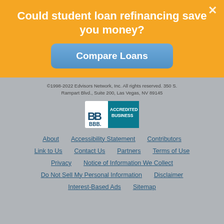Could student loan refinancing save you money?
Compare Loans
©1998-2022 Edvisors Network, Inc. All rights reserved. 350 S. Rampart Blvd., Suite 200, Las Vegas, NV 89145
[Figure (logo): BBB Accredited Business badge]
About
Accessibility Statement
Contributors
Link to Us
Contact Us
Partners
Terms of Use
Privacy
Notice of Information We Collect
Do Not Sell My Personal Information
Disclaimer
Interest-Based Ads
Sitemap